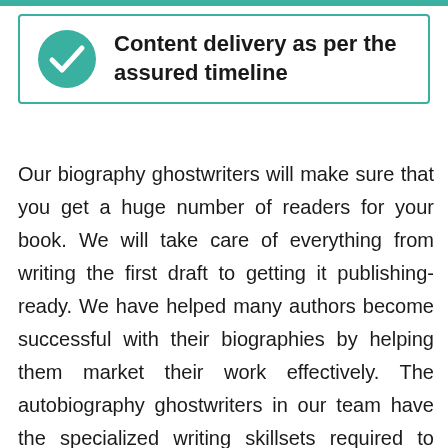[Figure (infographic): Teal checkmark circle icon with text: Content delivery as per the assured timeline, inside a teal-bordered box]
Our biography ghostwriters will make sure that you get a huge number of readers for your book. We will take care of everything from writing the first draft to getting it publishing-ready. We have helped many authors become successful with their biographies by helping them market their work effectively. The autobiography ghostwriters in our team have the specialized writing skillsets required to master autobiography writing. They have enough experience in the business and